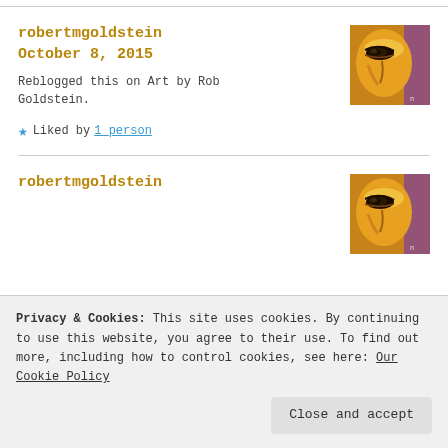robertmgoldstein
October 8, 2015
Reblogged this on Art by Rob Goldstein.
[Figure (illustration): Digital art avatar showing a stylized face with bold eyes in orange, yellow, and purple tones]
Liked by 1 person
robertmgoldstein
[Figure (illustration): Digital art avatar showing a stylized face with bold eyes in orange, yellow, and purple tones]
Privacy & Cookies: This site uses cookies. By continuing to use this website, you agree to their use. To find out more, including how to control cookies, see here: Our Cookie Policy
Close and accept